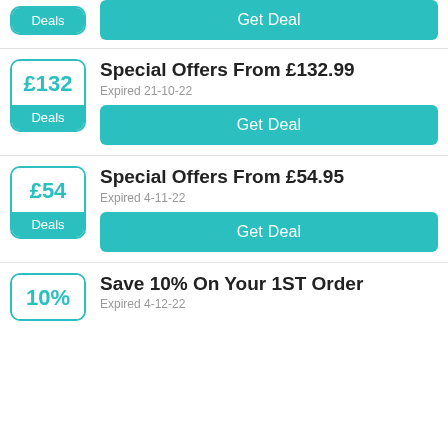Deals | Get Deal (partial top row)
Special Offers From £132.99
Expired 21-10-22
Get Deal
Special Offers From £54.95
Expired 4-11-22
Get Deal
Save 10% On Your 1ST Order
Expired 4-12-22